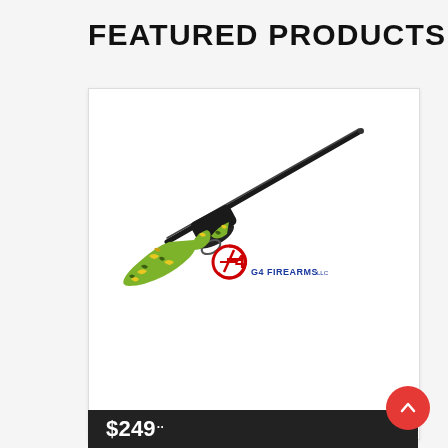FEATURED PRODUCTS
[Figure (photo): Stevens Model 301 shotgun with green/yellow camouflage stock and dark barrel, shown at an angle. G4 Firearms LLC logo watermark visible on the image.]
STEVENS MODEL 301
$249..